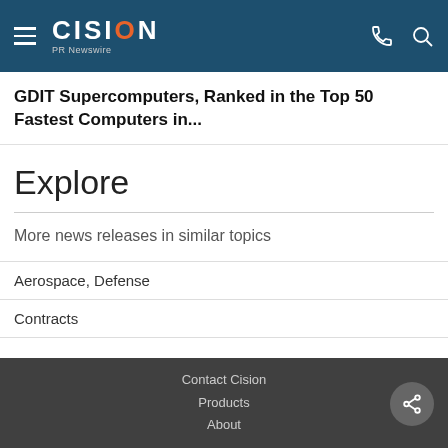CISION PR Newswire
GDIT Supercomputers, Ranked in the Top 50 Fastest Computers in...
Explore
More news releases in similar topics
Aerospace, Defense
Contracts
Contact Cision
Products
About